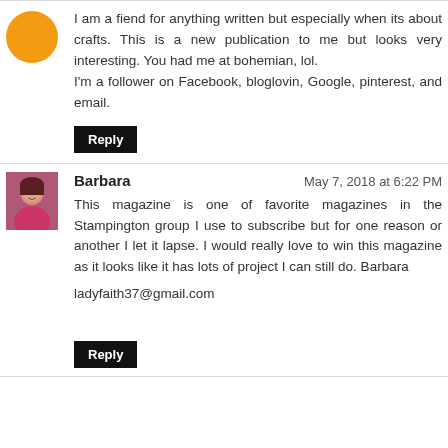I am a fiend for anything written but especially when its about crafts. This is a new publication to me but looks very interesting. You had me at bohemian, lol.
I'm a follower on Facebook, bloglovin, Google, pinterest, and email.
Reply
Barbara
May 7, 2018 at 6:22 PM
This magazine is one of favorite magazines in the Stampington group I use to subscribe but for one reason or another I let it lapse. I would really love to win this magazine as it looks like it has lots of project I can still do. Barbara
ladyfaith37@gmail.com
Reply